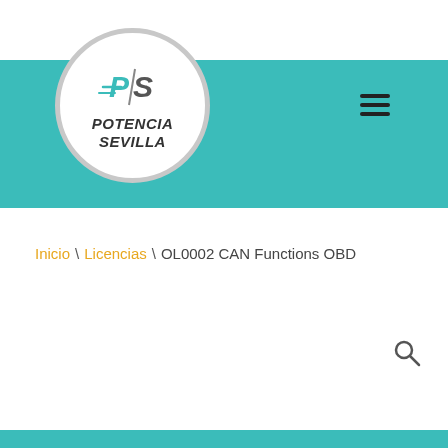[Figure (logo): Potencia Sevilla logo: circular white badge with 'PS' speed-streak monogram and bold italic text 'POTENCIA SEVILLA' on a teal header banner]
Inicio \ Licencias \ OL0002 CAN Functions OBD